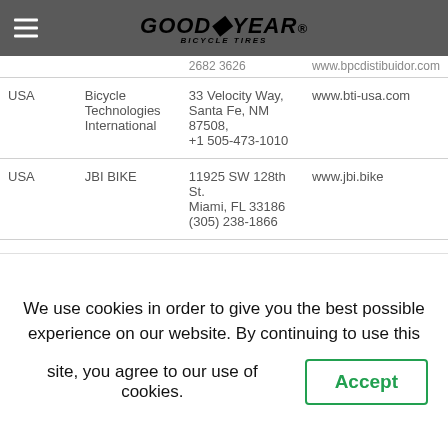Goodyear Bicycle Tires
| Country | Distributor | Address | Website |
| --- | --- | --- | --- |
| USA | Bicycle Technologies International | 33 Velocity Way, Santa Fe, NM 87508, +1 505-473-1010 | www.bti-usa.com |
| USA | JBI BIKE | 11925 SW 128th St. Miami, FL 33186 (305) 238-1866 | www.jbi.bike |
| USA | Quality Bicycle Products | 6400 W. 105th Street Bloomington, MN 55438, (+1) 952-941-9391 | www.qbp.com |
| Venezuela | COMERCIAL | 2da Calle Urb Vista Alegre, Edificio San José, PB, Local 2, |  |
We use cookies in order to give you the best possible experience on our website. By continuing to use this site, you agree to our use of cookies.
Accept